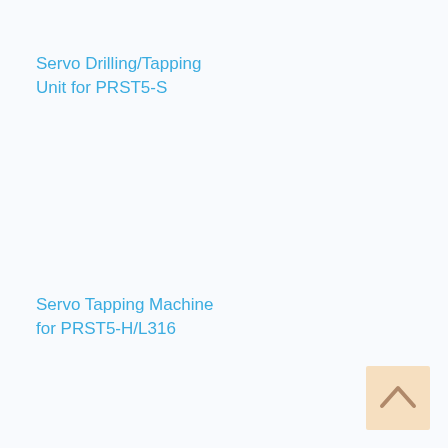Servo Drilling/Tapping Unit for PRST5-S
Servo Tapping Machine for PRST5-H/L316
[Figure (other): Scroll-to-top navigation button with upward arrow icon on a light orange/cream background]